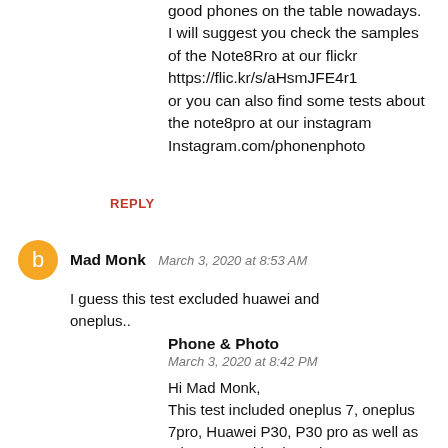good phones on the table nowadays. I will suggest you check the samples of the Note8Rro at our flickr https://flic.kr/s/aHsmJFE4r1 or you can also find some tests about the note8pro at our instagram Instagram.com/phonenphoto
REPLY
Mad Monk  March 3, 2020 at 8:53 AM
I guess this test excluded huawei and oneplus..
Phone & Photo  March 3, 2020 at 8:42 PM
Hi Mad Monk, This test included oneplus 7, oneplus 7pro, Huawei P30, P30 pro as well as other Huawei budget phones. You can check our site: Phonenphoto.com